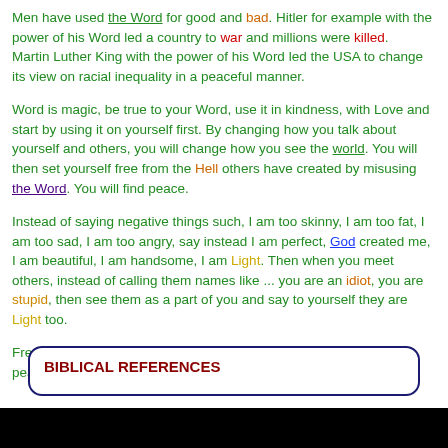Men have used the Word for good and bad. Hitler for example with the power of his Word led a country to war and millions were killed. Martin Luther King with the power of his Word led the USA to change its view on racial inequality in a peaceful manner.
Word is magic, be true to your Word, use it in kindness, with Love and start by using it on yourself first. By changing how you talk about yourself and others, you will change how you see the world. You will then set yourself free from the Hell others have created by misusing the Word. You will find peace.
Instead of saying negative things such, I am too skinny, I am too fat, I am too sad, I am too angry, say instead I am perfect, God created me, I am beautiful, I am handsome, I am Light. Then when you meet others, instead of calling them names like ... you are an idiot, you are stupid, then see them as a part of you and say to yourself they are Light too.
Free yourself by being true always to the Word. Create a world of peace and beauty with the Word.
BIBLICAL REFERENCES